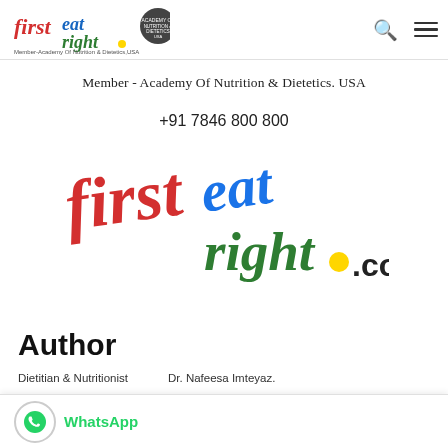[Figure (logo): firsteatright.com logo with Member-Academy Of Nutrition & Dietetics, USA badge in page header]
Member - Academy Of Nutrition & Dietetics. USA
+91 7846 800 800
[Figure (logo): Large firsteatright.com logo in red, green, blue and yellow colors with cursive text]
Author
Dietitian & Nutritionist   Dr. Nafeesa Imteyaz.
ept Of Dietetics & Nutrition)
Eat Right.
Fellow - Academy of Nutrition & Dietetics
[Figure (logo): WhatsApp icon and label bar at the bottom]